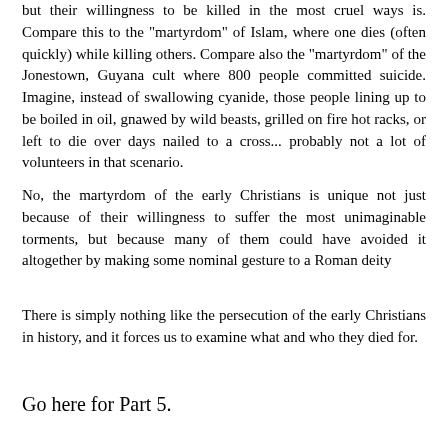but their willingness to be killed in the most cruel ways is. Compare this to the "martyrdom" of Islam, where one dies (often quickly) while killing others. Compare also the "martyrdom" of the Jonestown, Guyana cult where 800 people committed suicide. Imagine, instead of swallowing cyanide, those people lining up to be boiled in oil, gnawed by wild beasts, grilled on fire hot racks, or left to die over days nailed to a cross... probably not a lot of volunteers in that scenario.
No, the martyrdom of the early Christians is unique not just because of their willingness to suffer the most unimaginable torments, but because many of them could have avoided it altogether by making some nominal gesture to a Roman deity
There is simply nothing like the persecution of the early Christians in history, and it forces us to examine what and who they died for.
Go here for Part 5.